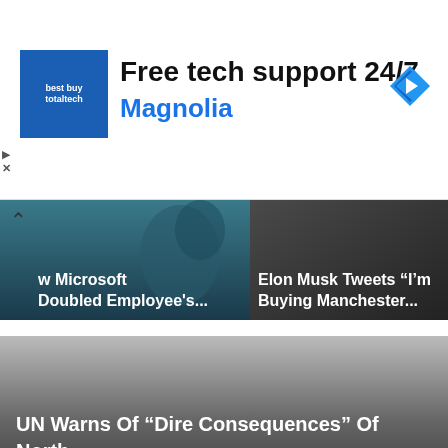[Figure (screenshot): Advertisement banner: blue logo for 'totaltech' with text 'Free tech support 24/7' and 'Magnolia' in blue, navigation arrow icon on right]
[Figure (screenshot): News article card: 'How Microsoft Doubled Employee's...' on dark teal background]
[Figure (screenshot): News article card: 'Elon Musk Tweets "I'm Buying Manchester..."' on dark background]
[Figure (screenshot): Large featured news card: 'UN Warns Of "Dire Consequences" Of North Korea Covid Response' on gradient dark background]
[Figure (screenshot): News article card bottom left: 'Japan To Hold Shinzo' on grey gradient background]
[Figure (screenshot): News article card bottom right: 'Elon Musk Suggests' with photo of Elon Musk against red background]